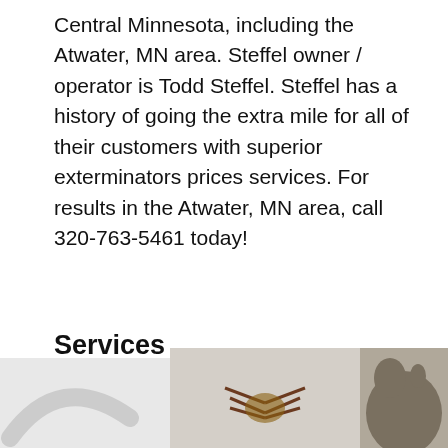Central Minnesota, including the Atwater, MN area. Steffel owner / operator is Todd Steffel. Steffel has a history of going the extra mile for all of their customers with superior exterminators prices services. For results in the Atwater, MN area, call 320-763-5461 today!
Services
- Pest Control - Bugs and Insects
[Figure (photo): Three partially visible images at the bottom of the page: a curved white object on the left, a close-up of an insect (likely a tick or bug with legs visible) in the center, and a rat or rodent's head on the right.]